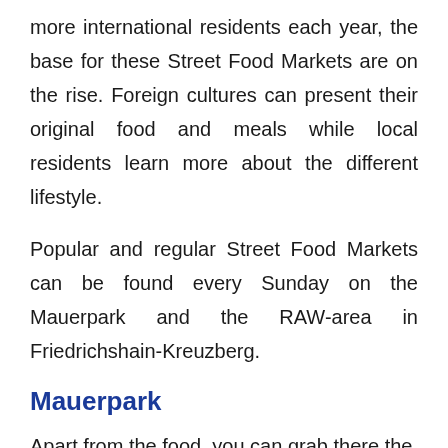more international residents each year, the base for these Street Food Markets are on the rise. Foreign cultures can present their original food and meals while local residents learn more about the different lifestyle.
Popular and regular Street Food Markets can be found every Sunday on the Mauerpark and the RAW-area in Friedrichshain-Kreuzberg.
Mauerpark
Apart from the food, you can grab there the